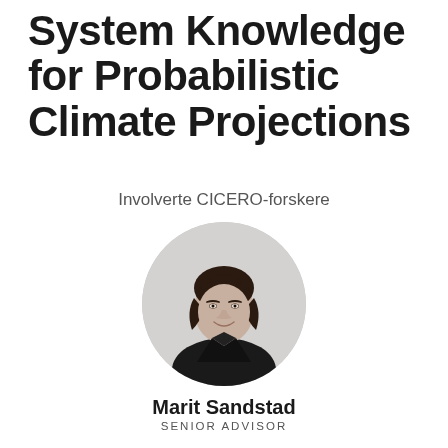System Knowledge for Probabilistic Climate Projections
Involverte CICERO-forskere
[Figure (photo): Black and white circular portrait photo of Marit Sandstad, a woman with dark hair pulled back, wearing a dark jacket, smiling.]
Marit Sandstad
SENIOR ADVISOR